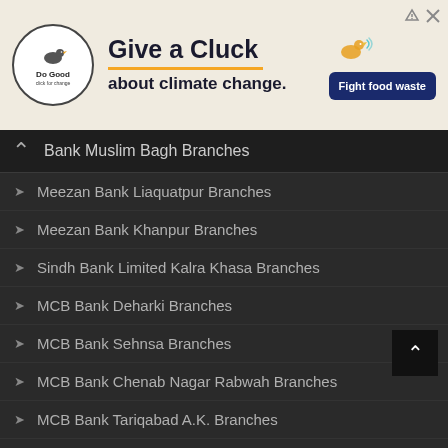[Figure (infographic): Advertisement banner for 'Do Good' campaign: Give a Cluck about climate change. Fight food waste.]
Bank Muslim Bagh Branches
Meezan Bank Liaquatpur Branches
Meezan Bank Khanpur Branches
Sindh Bank Limited Kalra Khasa Branches
MCB Bank Deharki Branches
MCB Bank Sehnsa Branches
MCB Bank Chenab Nagar Rabwah Branches
MCB Bank Tariqabad A.K. Branches
MCB Bank Shahpur Branches
MCB Bank Adda Shahi Wala Branches
MCB Bank Chak No.220/RB Branches
APNA Bank Manchinabad Branches